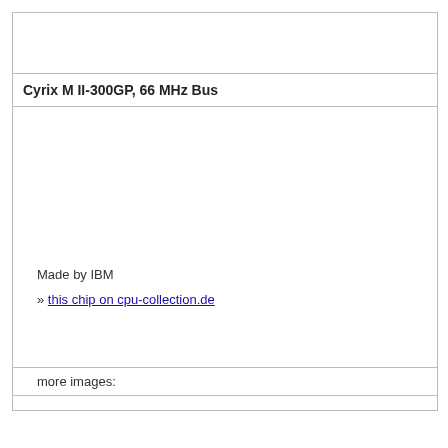Cyrix M II-300GP, 66 MHz Bus
Made by IBM
» this chip on cpu-collection.de
more images: